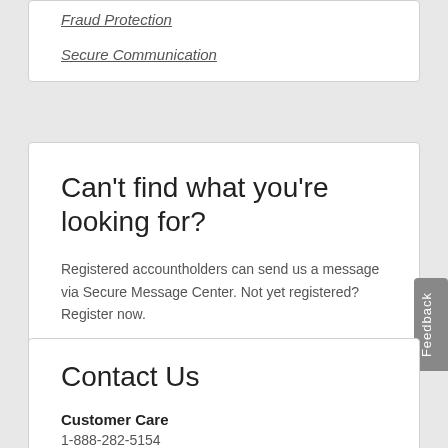Fraud Protection
Secure Communication
Can't find what you're looking for?
Registered accountholders can send us a message via Secure Message Center. Not yet registered? Register now.
Access Secure Message Center
Contact Us
Customer Care
1-888-282-5154